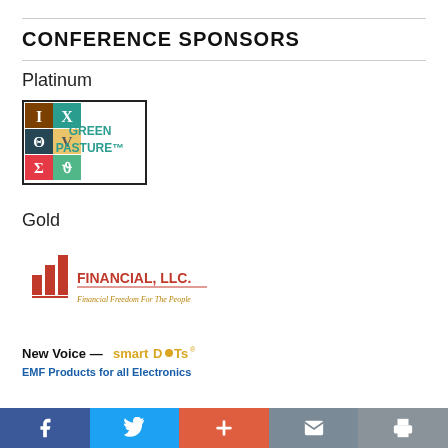CONFERENCE SPONSORS
Platinum
[Figure (logo): Green Pasture logo with Greek-symbol grid on left and 'GREEN PASTURE™' text on right, bordered rectangle]
Gold
[Figure (logo): FTP Financial, LLC. logo with red bar chart icon and red text 'FTP FINANCIAL, LLC.' and italic tagline 'Financial Freedom For The People']
[Figure (logo): New Voice — smartDOTs® logo with bold black and yellow text and blue subtitle 'EMF Products for all Electronics']
Facebook | Twitter | + | Mail | Print